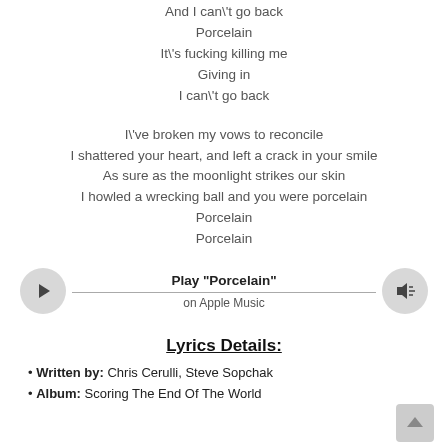And I can't go back
Porcelain
It's fucking killing me
Giving in
I can't go back
I've broken my vows to reconcile
I shattered your heart, and left a crack in your smile
As sure as the moonlight strikes our skin
I howled a wrecking ball and you were porcelain
Porcelain
Porcelain
[Figure (other): Play button bar for 'Porcelain' on Apple Music, with play and volume icons and a horizontal line]
Lyrics Details:
Written by: Chris Cerulli, Steve Sopchak
Album: Scoring The End Of The World